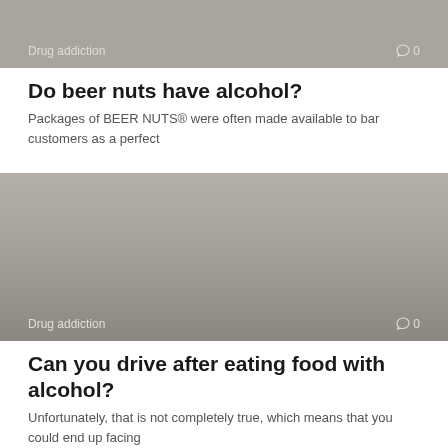[Figure (photo): Gray banner image with 'Drug addiction' label and comment icon showing 0 comments]
Do beer nuts have alcohol?
Packages of BEER NUTS® were often made available to bar customers as a perfect
[Figure (photo): Large gray banner image with 'Drug addiction' label and comment icon showing 0 comments]
Can you drive after eating food with alcohol?
Unfortunately, that is not completely true, which means that you could end up facing
[Figure (photo): Gray banner image partially visible at bottom of page]